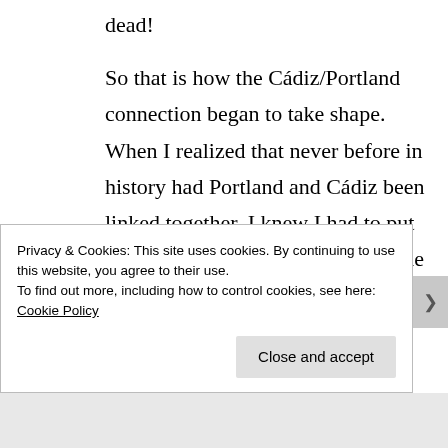dead!
So that is how the Cádiz/Portland connection began to take shape. When I realized that never before in history had Portland and Cádiz been linked together, I knew I had to put on my pioneering panties and be the first in line.
Privacy & Cookies: This site uses cookies. By continuing to use this website, you agree to their use.
To find out more, including how to control cookies, see here: Cookie Policy
Close and accept